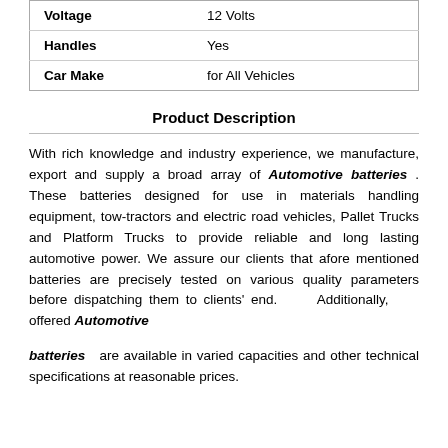| Voltage | 12 Volts |
| Handles | Yes |
| Car Make | for All Vehicles |
Product Description
With rich knowledge and industry experience, we manufacture, export and supply a broad array of Automotive batteries . These batteries designed for use in materials handling equipment, tow-tractors and electric road vehicles, Pallet Trucks and Platform Trucks to provide reliable and long lasting automotive power. We assure our clients that afore mentioned batteries are precisely tested on various quality parameters before dispatching them to clients' end. Additionally, offered Automotive batteries are available in varied capacities and other technical specifications at reasonable prices.